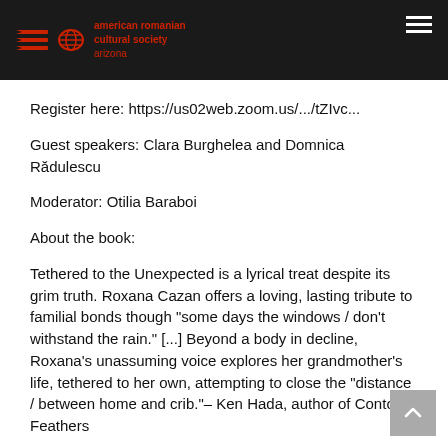american romanian cultural society arizona
Register here: https://us02web.zoom.us/.../tZIvc...
Guest speakers: Clara Burghelea and Domnica Rădulescu
Moderator: Otilia Baraboi
About the book:
Tethered to the Unexpected is a lyrical treat despite its grim truth. Roxana Cazan offers a loving, lasting tribute to familial bonds though "some days the windows / don't withstand the rain." [...] Beyond a body in decline, Roxana's unassuming voice explores her grandmother's life, tethered to her own, attempting to close the "distance / between home and crib."– Ken Hada, author of Contour Feathers
Read more about Roxana Cazan's book on her website: https://roxanacazan.weebly.com/books.html